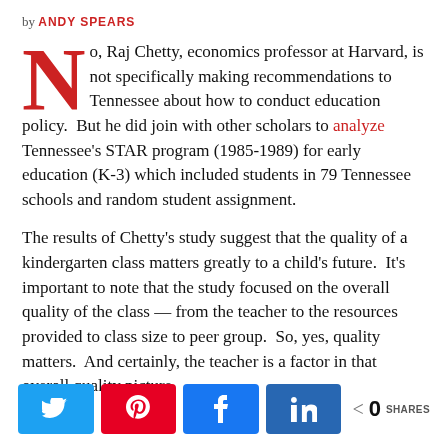by ANDY SPEARS
No, Raj Chetty, economics professor at Harvard, is not specifically making recommendations to Tennessee about how to conduct education policy. But he did join with other scholars to analyze Tennessee's STAR program (1985-1989) for early education (K-3) which included students in 79 Tennessee schools and random student assignment.
The results of Chetty's study suggest that the quality of a kindergarten class matters greatly to a child's future. It's important to note that the study focused on the overall quality of the class — from the teacher to the resources provided to class size to peer group. So, yes, quality matters. And certainly, the teacher is a factor in that overall quality picture.